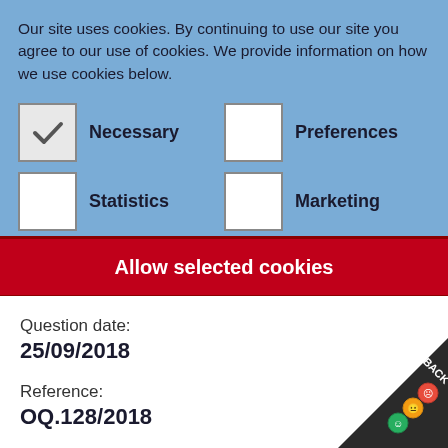Our site uses cookies. By continuing to use our site you agree to our use of cookies. We provide information on how we use cookies below.
[Figure (screenshot): Cookie consent checkboxes: Necessary (checked), Preferences (unchecked), Statistics (unchecked), Marketing (unchecked)]
Show details
Allow selected cookies
Question date:
25/09/2018
Reference:
OQ.128/2018
[Figure (other): FEEDBACK badge with emoji faces in bottom right corner]